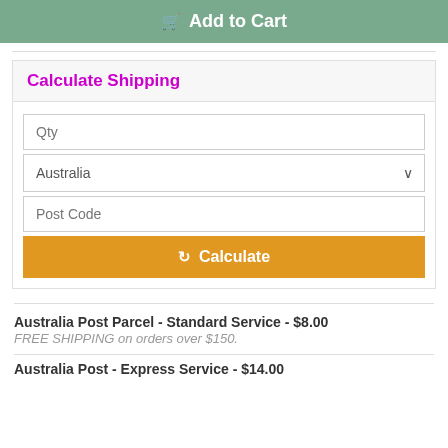Add to Cart
Calculate Shipping
Qty
Australia
Post Code
Calculate
Australia Post Parcel - Standard Service - $8.00
FREE SHIPPING on orders over $150.
Australia Post - Express Service - $14.00